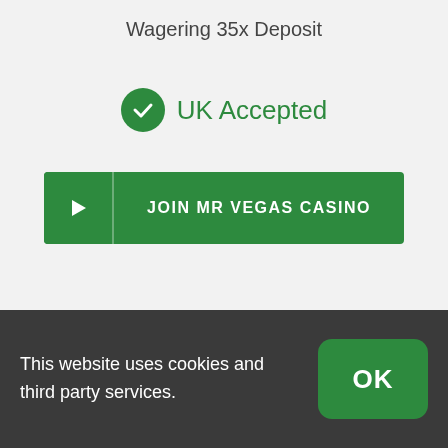Wagering 35x Deposit
UK Accepted
JOIN MR VEGAS CASINO
[Figure (other): Empty card/placeholder rectangle with rounded corners and light shadow on grey background]
This website uses cookies and third party services.
OK